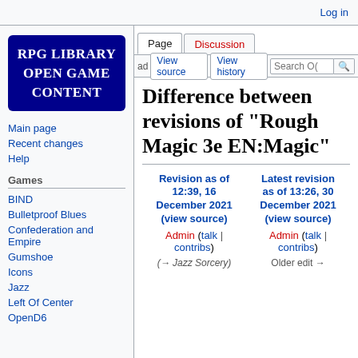Log in
[Figure (logo): RPG Library Open Game Content logo — dark navy blue box with white bold text in uppercase serif font]
Main page
Recent changes
Help
Games
BIND
Bulletproof Blues
Confederation and Empire
Gumshoe
Icons
Jazz
Left Of Center
OpenD6
Difference between revisions of "Rough Magic 3e EN:Magic"
| Revision as of 12:39, 16 December 2021 (view source) | Latest revision as of 13:26, 30 December 2021 (view source) |
| --- | --- |
| Admin (talk | contribs) | Admin (talk | contribs) |
| (→Jazz Sorcery) | Older edit → |